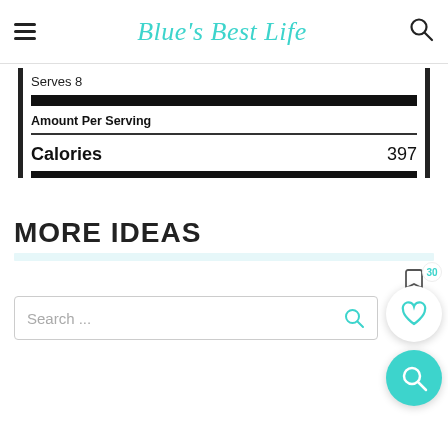Blue's Best Life
| Serves 8 |
| Amount Per Serving |
| Calories | 397 |
MORE IDEAS
Search ...